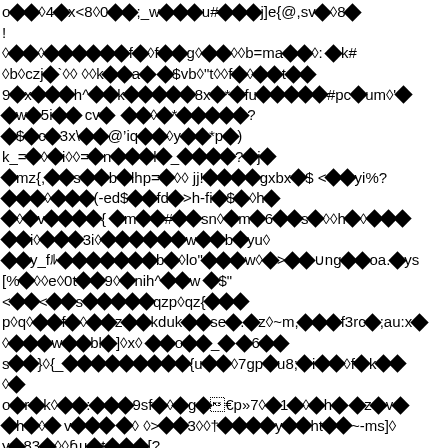Garbled/encoded text content with diamond replacement characters throughout the page — appears to be corrupted or encoded document text.